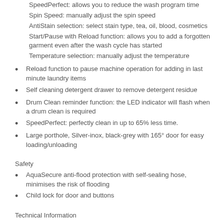SpeedPerfect: allows you to reduce the wash program time
Spin Speed: manually adjust the spin speed
AntiStain selection: select stain type, tea, oil, blood, cosmetics
Start/Pause with Reload function: allows you to add a forgotten garment even after the wash cycle has started
Temperature selection: manually adjust the temperature
Reload function to pause machine operation for adding in last minute laundry items
Self cleaning detergent drawer to remove detergent residue
Drum Clean reminder function: the LED indicator will flash when a drum clean is required
SpeedPerfect: perfectly clean in up to 65% less time.
Large porthole, Silver-inox, black-grey with 165° door for easy loading/unloading
Safety
AquaSecure anti-flood protection with self-sealing hose, minimises the risk of flooding
Child lock for door and buttons
Technical Information